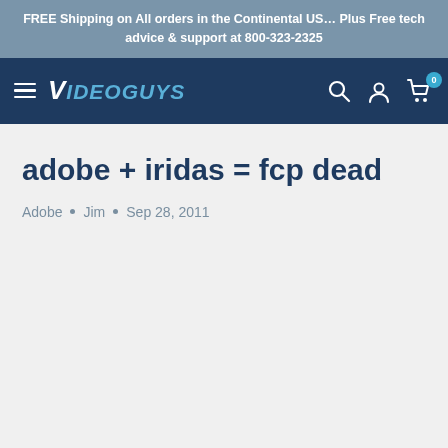FREE Shipping on All orders in the Continental US… Plus Free tech advice & support at 800-323-2325
[Figure (logo): Videoguys logo with hamburger menu, search, account, and cart icons on dark navy navigation bar]
adobe + iridas = fcp dead
Adobe • Jim • Sep 28, 2011